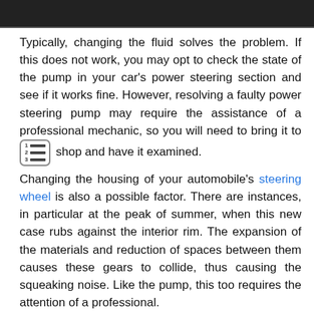[Figure (photo): Dark image strip at top of page, partial view of a car interior scene]
Typically, changing the fluid solves the problem. If this does not work, you may opt to check the state of the pump in your car's power steering section and see if it works fine. However, resolving a faulty power steering pump may require the assistance of a professional mechanic, so you will need to bring it to shop and have it examined.
Changing the housing of your automobile's steering wheel is also a possible factor. There are instances, in particular at the peak of summer, when this new case rubs against the interior rim. The expansion of the materials and reduction of spaces between them causes these gears to collide, thus causing the squeaking noise. Like the pump, this too requires the attention of a professional.